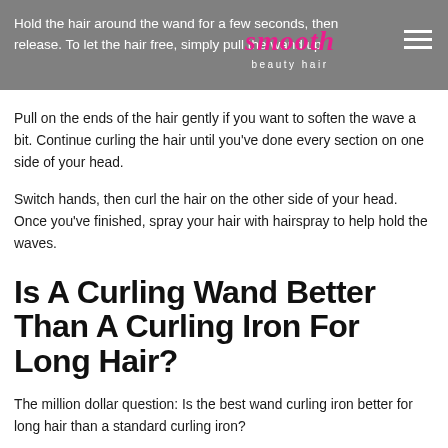Hold the hair around the wand for a few seconds, then release. To let the hair free, simply pull the wand up
Pull on the ends of the hair gently if you want to soften the wave a bit. Continue curling the hair until you've done every section on one side of your head.
Switch hands, then curl the hair on the other side of your head. Once you've finished, spray your hair with hairspray to help hold the waves.
Is A Curling Wand Better Than A Curling Iron For Long Hair?
The million dollar question: Is the best wand curling iron better for long hair than a standard curling iron?